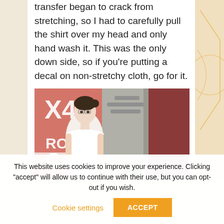transfer began to crack from stretching, so I had to carefully pull the shirt over my head and only hand wash it. This was the only down side, so if you're putting a decal on non-stretchy cloth, go for it.
[Figure (photo): A woman in a white sleeveless top standing in front of a pink wall with 'X4 ROW' text visible. Industrial pipes and a dark red wall are visible in the background.]
This website uses cookies to improve your experience. Clicking "accept" will allow us to continue with their use, but you can opt-out if you wish. Cookie settings ACCEPT